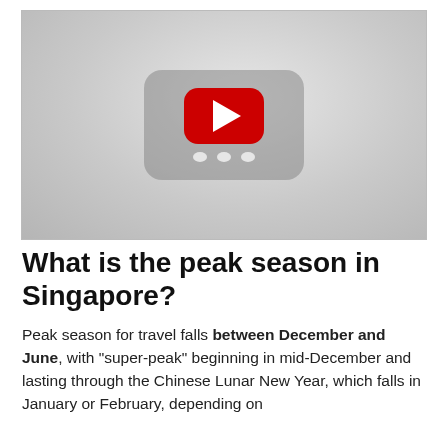[Figure (screenshot): YouTube video thumbnail placeholder showing a grey background with a YouTube play button (red rounded rectangle with white triangle) in the center]
What is the peak season in Singapore?
Peak season for travel falls between December and June, with "super-peak" beginning in mid-December and lasting through the Chinese Lunar New Year, which falls in January or February, depending on